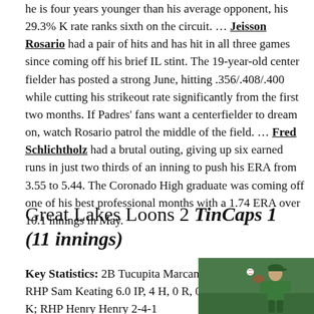he is four years younger than his average opponent, his 29.3% K rate ranks sixth on the circuit. … Jeisson Rosario had a pair of hits and has hit in all three games since coming off his brief IL stint. The 19-year-old center fielder has posted a strong June, hitting .356/.408/.400 while cutting his strikeout rate significantly from the first two months. If Padres' fans want a centerfielder to dream on, watch Rosario patrol the middle of the field. … Fred Schlichtholz had a brutal outing, giving up six earned runs in just two thirds of an inning to push his ERA from 3.55 to 5.44. The Coronado High graduate was coming off one of his best professional months with a 1.74 ERA over 10.1 innings in May.
Great Lakes Loons 2 TinCaps 1 (11 innings)
Key Statistics: 2B Tucupita Marcano 2-4; RHP Sam Keating 6.0 IP, 4 H, 0 R, 0 BB, 8 K; RHP Henry Henry 2-4-1
[Figure (photo): Photo of a baseball player in green uniform, catching or fielding a ball, with green wall/field background]